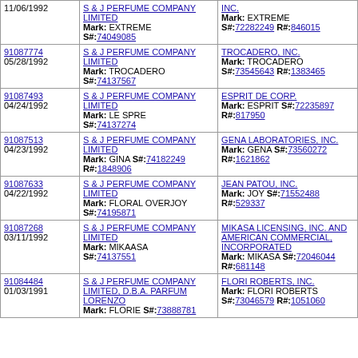| Case/Date | Plaintiff | Defendant |
| --- | --- | --- |
| 11/06/1992 | S & J PERFUME COMPANY LIMITED
Mark: EXTREME
S#:74049085 | INC.
Mark: EXTREME
S#:72282249 R#:846015 |
| 91087774
05/28/1992 | S & J PERFUME COMPANY LIMITED
Mark: TROCADERO
S#:74137567 | TROCADERO, INC.
Mark: TROCADERO
S#:73545643 R#:1383465 |
| 91087493
04/24/1992 | S & J PERFUME COMPANY LIMITED
Mark: LE SPRE
S#:74137274 | ESPRIT DE CORP.
Mark: ESPRIT S#:72235897
R#:817950 |
| 91087513
04/23/1992 | S & J PERFUME COMPANY LIMITED
Mark: GINA S#:74182249
R#:1848906 | GENA LABORATORIES, INC.
Mark: GENA S#:73560272
R#:1621862 |
| 91087633
04/22/1992 | S & J PERFUME COMPANY LIMITED
Mark: FLORAL OVERJOY
S#:74195871 | JEAN PATOU, INC.
Mark: JOY S#:71552488
R#:529337 |
| 91087268
03/11/1992 | S & J PERFUME COMPANY LIMITED
Mark: MIKAASA
S#:74137551 | MIKASA LICENSING, INC. AND AMERICAN COMMERCIAL, INCORPORATED
Mark: MIKASA S#:72046044
R#:681148 |
| 91084484
01/03/1991 | S & J PERFUME COMPANY LIMITED, D.B.A. PARFUM LORENZO
Mark: FLORIE S#:73888781 | FLORI ROBERTS, INC.
Mark: FLORI ROBERTS
S#:73046579 R#:1051060 |